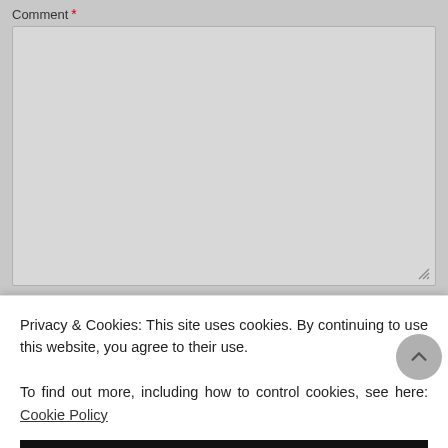Comment *
[Figure (screenshot): Empty comment textarea input box with light gray background and resize handle at bottom right]
Privacy & Cookies: This site uses cookies. By continuing to use this website, you agree to their use.
To find out more, including how to control cookies, see here: Cookie Policy
CLOSE AND ACCEPT